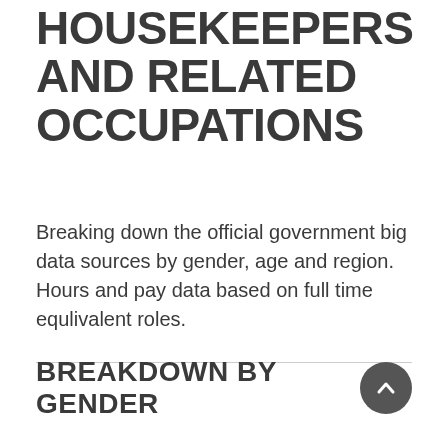HOUSEKEEPERS AND RELATED OCCUPATIONS
Breaking down the official government big data sources by gender, age and region. Hours and pay data based on full time equlivalent roles.
BREAKDOWN BY GENDER